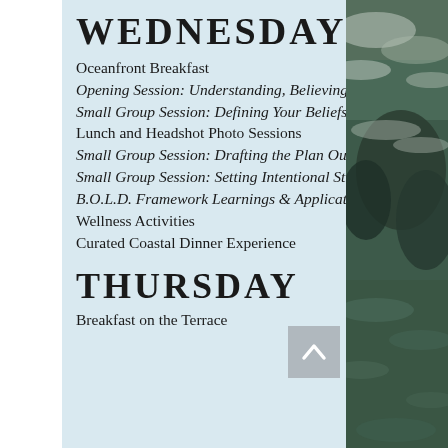WEDNESDAY
Oceanfront Breakfast
Opening Session: Understanding, Believing & Owning
Small Group Session: Defining Your Beliefs and Mindset
Lunch and Headshot Photo Sessions
Small Group Session: Drafting the Plan Outline
Small Group Session: Setting Intentional Strategies
B.O.L.D. Framework Learnings & Application
Wellness Activities
Curated Coastal Dinner Experience
THURSDAY
Breakfast on the Terrace